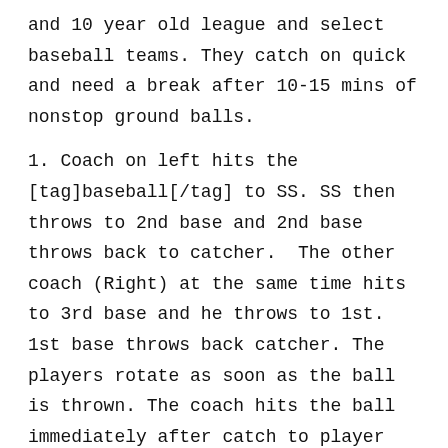and 10 year old league and select baseball teams. They catch on quick and need a break after 10-15 mins of nonstop ground balls.
1. Coach on left hits the [tag]baseball[/tag] to SS. SS then throws to 2nd base and 2nd base throws back to catcher.   The other coach (Right) at the same time hits to 3rd base and he throws to 1st. 1st base throws back catcher. The players rotate as soon as the ball is thrown. The coach hits the ball immediately after catch to player 2.   If the player misses the ball they let it go and continues.   You can make a contest to see who has the least amount of balls overthrown. (3-5mins)
2. Coach(L) hits to 2nd base, he throws to SS then SS throws home.   Coach(r) hits ball to 1st base, he